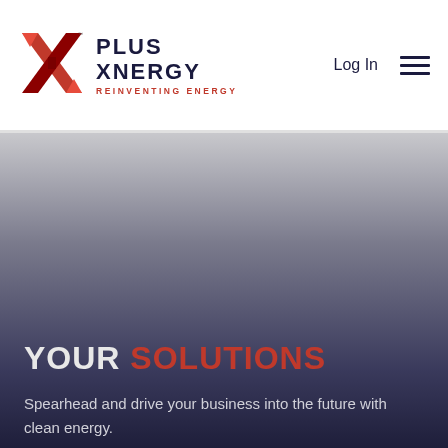[Figure (logo): PlusXnergy logo — red X mark with stylized crossing ribbons, beside bold dark navy text reading PLUS XNERGY with red tagline REINVENTING ENERGY]
Log In
YOUR SOLUTIONS
Spearhead and drive your business into the future with clean energy.